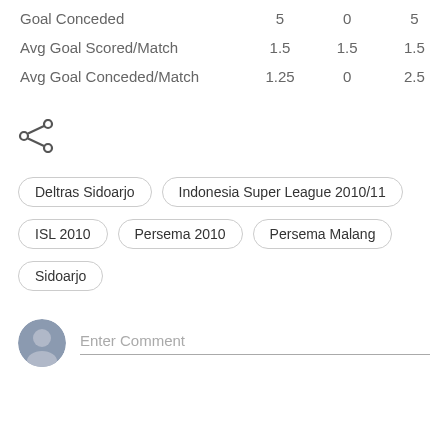|  |  |  |  |
| --- | --- | --- | --- |
| Goal Conceded | 5 | 0 | 5 |
| Avg Goal Scored/Match | 1.5 | 1.5 | 1.5 |
| Avg Goal Conceded/Match | 1.25 | 0 | 2.5 |
[Figure (other): Share icon (less-than style share symbol)]
Deltras Sidoarjo
Indonesia Super League 2010/11
ISL 2010
Persema 2010
Persema Malang
Sidoarjo
Enter Comment